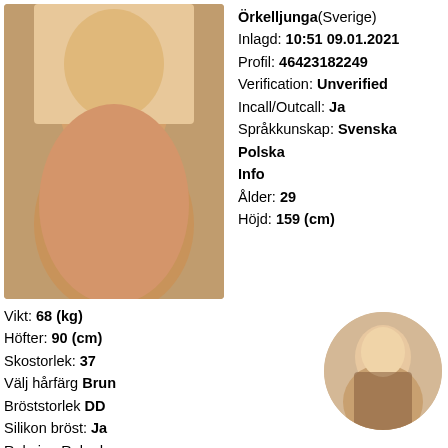[Figure (photo): Main photo: person from behind in lingerie]
Örkelljunga(Sverige)
Inlagd: 10:51 09.01.2021
Profil: 46423182249
Verification: Unverified
Incall/Outcall: Ja
Språkkunskap: Svenska Polska
Info
Ålder: 29
Höjd: 159 (cm)
Vikt: 68 (kg)
Höfter: 90 (cm)
Skostorlek: 37
Välj hårfärg Brun
Bröststorlek DD
Silikon bröst: Ja
Rakning Rakad: -
Rökare: -
[Figure (photo): Circular thumbnail portrait photo]